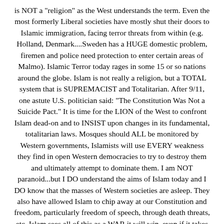is NOT a "religion" as the West understands the term. Even the most formerly Liberal societies have mostly shut their doors to Islamic immigration, facing terror threats from within (e.g. Holland, Denmark....Sweden has a HUGE domestic problem, firemen and police need protection to enter certain areas of Malmo). Islamic Terror today rages in some 15 or so nations around the globe. Islam is not really a religion, but a TOTAL system that is SUPREMACIST and Totalitarian. After 9/11, one astute U.S. politician said: "The Constitution Was Not a Suicide Pact." It is time for the LION of the West to confront Islam dead-on and to INSIST upon changes in its fundamental, totalitarian laws. Mosques should ALL be monitored by Western governments, Islamists will use EVERY weakness they find in open Western democracies to try to destroy them and ultimately attempt to dominate them. I am NOT paranoid...but I DO understand the aims of Islam today and I DO know that the masses of Western societies are asleep. They also have allowed Islam to chip away at our Constitution and freedom, particularly freedom of speech, through death threats, etc. Islam sees all of this as a WAR it will win–even if it takes 500 years. The extent of BLINDNESS to Islamic Dogma (Islam is Theocratic, Democracies are anathema to it) is Enormous. So much so that we still hear that "authorities" at Ft. Hood are "looking for a motive" in Hasan's serial killing